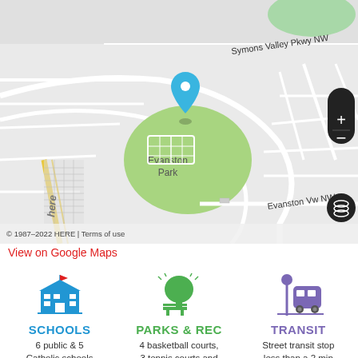[Figure (map): HERE map showing Evanston Park neighborhood with a blue location pin over Evanston Park, streets including Symons Valley Pkwy NW and Evanston Vw NW, zoom controls, and a 200 m scale bar. Copyright 1987-2022 HERE.]
View on Google Maps
[Figure (infographic): Three icons: a blue school building icon labeled SCHOOLS, a green tree/park bench icon labeled PARKS & REC, and a purple bus stop icon labeled TRANSIT]
SCHOOLS
6 public & 5 Catholic schools serve this home. Of these, 8 have catchments. There
PARKS & REC
4 basketball courts, 3 tennis courts and 9 other facilities are within a 20 min walk of this home.
TRANSIT
Street transit stop less than a 2 min walk away. Rail transit stop less than 5 km away.